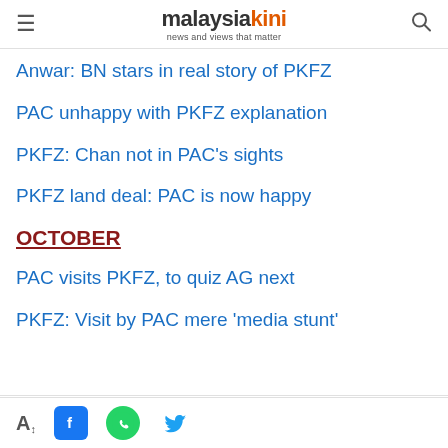malaysiakini — news and views that matter
Anwar: BN stars in real story of PKFZ
PAC unhappy with PKFZ explanation
PKFZ: Chan not in PAC's sights
PKFZ land deal: PAC is now happy
OCTOBER
PAC visits PKFZ, to quiz AG next
PKFZ: Visit by PAC mere 'media stunt'